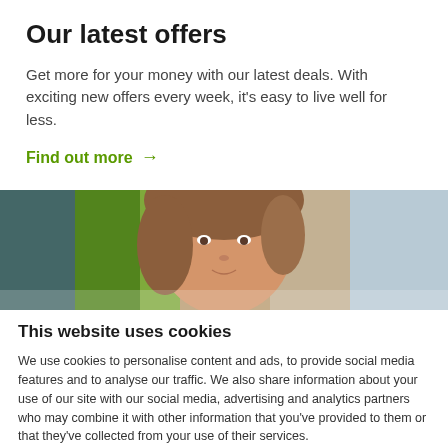Our latest offers
Get more for your money with our latest deals. With exciting new offers every week, it's easy to live well for less.
Find out more →
[Figure (photo): Close-up photo of a young woman with brown hair smiling, against a colourful blurred background with green and teal tones]
This website uses cookies
We use cookies to personalise content and ads, to provide social media features and to analyse our traffic. We also share information about your use of our site with our social media, advertising and analytics partners who may combine it with other information that you've provided to them or that they've collected from your use of their services.
Ok, got it!
Show details ∨